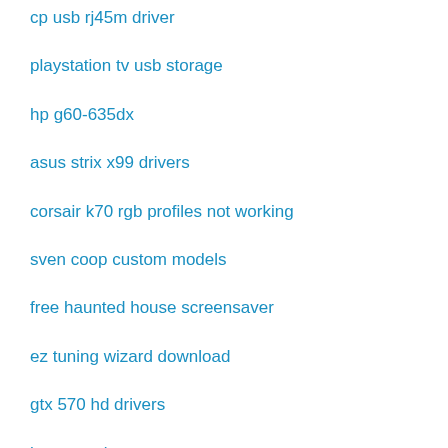cp usb rj45m driver
playstation tv usb storage
hp g60-635dx
asus strix x99 drivers
corsair k70 rgb profiles not working
sven coop custom models
free haunted house screensaver
ez tuning wizard download
gtx 570 hd drivers
how to point warp
galaxy pro 8.4 lollipop
hp laserjet 500 m551 driver
intel® centrino® advanced-n 6200 agn